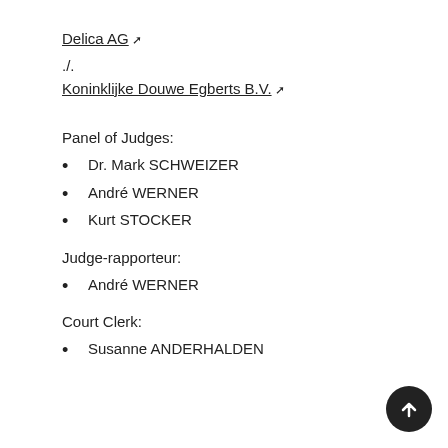Delica AG ↗
./.
Koninklijke Douwe Egberts B.V. ↗
Panel of Judges:
Dr. Mark SCHWEIZER
André WERNER
Kurt STOCKER
Judge-rapporteur:
André WERNER
Court Clerk:
Susanne ANDERHALDEN